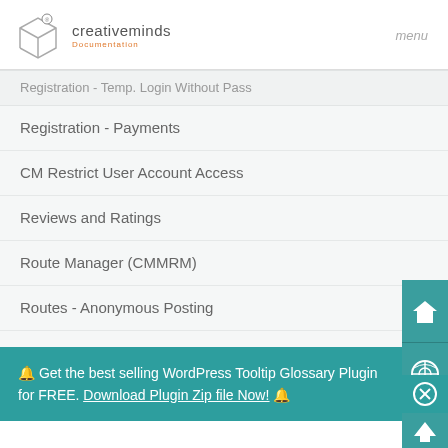creativeminds Documentation | menu
Registration - Temp. Login Without Pass
Registration - Payments
CM Restrict User Account Access
Reviews and Ratings
Route Manager (CMMRM)
Routes - Anonymous Posting
Routes - Custom Fields
Routes - BuddyPress Integration
🔔 Get the best selling WordPress Tooltip Glossary Plugin for FREE. Download Plugin Zip file Now! 🔔